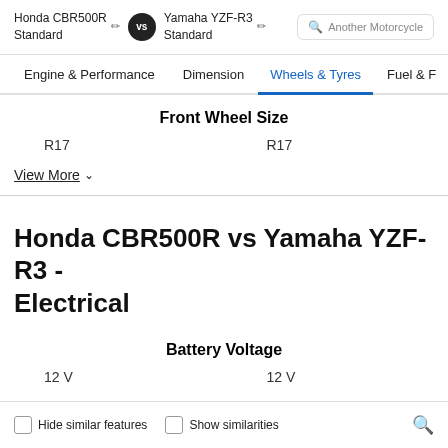Honda CBR500R Standard vs Yamaha YZF-R3 Standard | Another Motorcycle
Engine & Performance | Dimension | Wheels & Tyres | Fuel &
Front Wheel Size
R17 | R17
View More
Honda CBR500R vs Yamaha YZF-R3 - Electrical
Battery Voltage
12 V | 12 V
Hide similar features | Show similarities